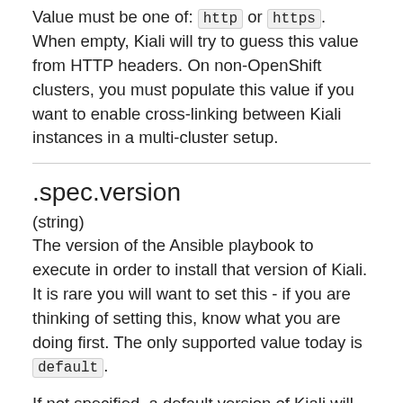Value must be one of: http or https. When empty, Kiali will try to guess this value from HTTP headers. On non-OpenShift clusters, you must populate this value if you want to enable cross-linking between Kiali instances in a multi-cluster setup.
.spec.version
(string)
The version of the Ansible playbook to execute in order to install that version of Kiali. It is rare you will want to set this - if you are thinking of setting this, know what you are doing first. The only supported value today is default.
If not specified, a default version of Kiali will be installed which will be the most recent release of Kiali. Refer to this file to see where these values are defined in the master branch, https://github.com/kiali/kiali-